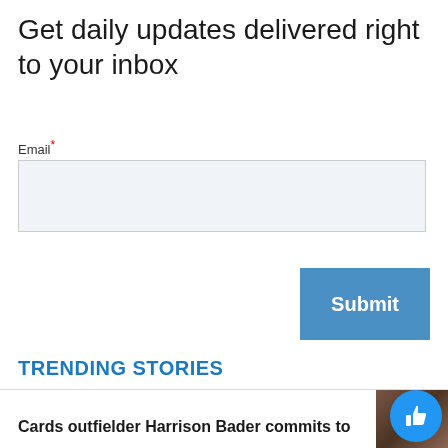Get daily updates delivered right to your inbox
Email*
TRENDING STORIES
Cards outfielder Harrison Bader commits to...